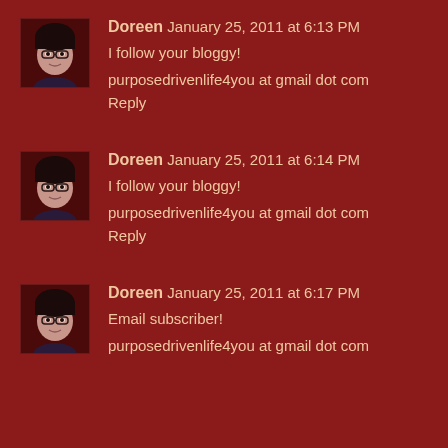[Figure (photo): Avatar photo of Doreen - woman with dark hair]
Doreen January 25, 2011 at 6:13 PM
I follow your bloggy!
purposedrivenlife4you at gmail dot com
Reply
[Figure (photo): Avatar photo of Doreen - woman with dark hair]
Doreen January 25, 2011 at 6:14 PM
I follow your bloggy!
purposedrivenlife4you at gmail dot com
Reply
[Figure (photo): Avatar photo of Doreen - woman with dark hair]
Doreen January 25, 2011 at 6:17 PM
Email subscriber!
purposedrivenlife4you at gmail dot com